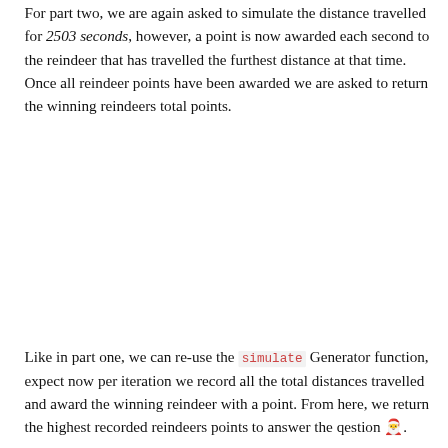For part two, we are again asked to simulate the distance travelled for 2503 seconds, however, a point is now awarded each second to the reindeer that has travelled the furthest distance at that time. Once all reindeer points have been awarded we are asked to return the winning reindeers total points.
Like in part one, we can re-use the simulate Generator function, expect now per iteration we record all the total distances travelled and award the winning reindeer with a point. From here, we return the highest recorded reindeers points to answer the qestion 🎅.
[Figure (screenshot): Code block showing TypeScript function part2 with const reindeer, const points Map, repeat loop with distances and winner logic]